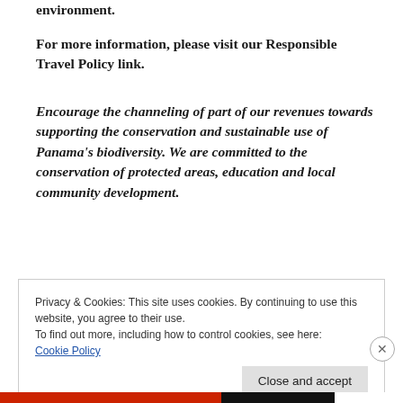environment.
For more information, please visit our Responsible Travel Policy link.
Encourage the channeling of part of our revenues towards supporting the conservation and sustainable use of Panama’s biodiversity. We are committed to the conservation of protected areas, education and local community development.
Privacy & Cookies: This site uses cookies. By continuing to use this website, you agree to their use.
To find out more, including how to control cookies, see here:
Cookie Policy
Close and accept